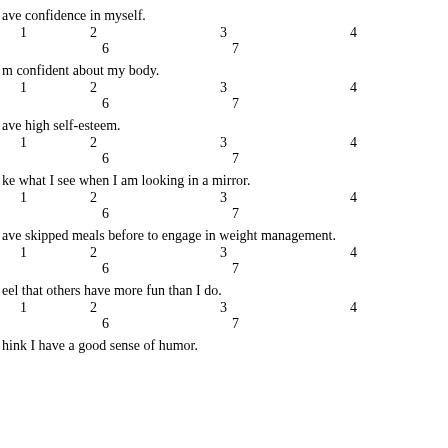ave confidence in myself.
1   2   3   4
      6   7
m confident about my body.
1   2   3   4
      6   7
ave high self-esteem.
1   2   3   4
      6   7
ke what I see when I am looking in a mirror.
1   2   3   4
      6   7
ave skipped meals before to engage in weight management.
1   2   3   4
      6   7
eel that others have more fun than I do.
1   2   3   4
      6   7
hink I have a good sense of humor.